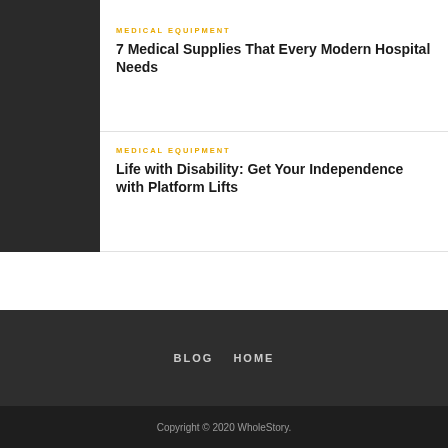[Figure (photo): Top image strip showing partial photo of person]
MEDICAL EQUIPMENT
7 Medical Supplies That Every Modern Hospital Needs
MEDICAL EQUIPMENT
Life with Disability: Get Your Independence with Platform Lifts
BLOG   HOME
Copyright © 2020 WholeStory.